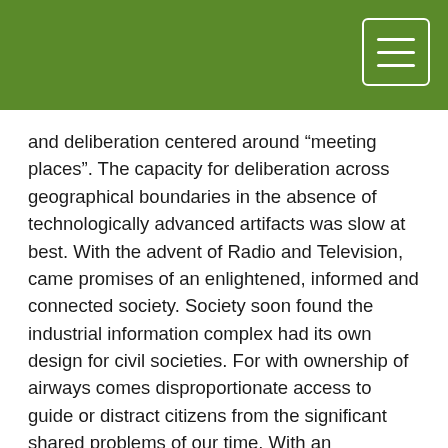and deliberation centered around “meeting places”. The capacity for deliberation across geographical boundaries in the absence of technologically advanced artifacts was slow at best. With the advent of Radio and Television, came promises of an enlightened, informed and connected society. Society soon found the industrial information complex had its own design for civil societies. For with ownership of airways comes disproportionate access to guide or distract citizens from the significant shared problems of our time. With an increasing world population, comes the need for increased civic participation. “Non-Proprietary Civic Collaboration” could be one possible answer, and an approach central to the underpinnings of e-Liberate.